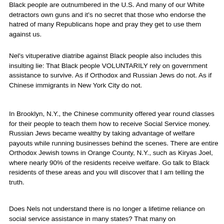Black people are outnumbered in the U.S. And many of our White detractors own guns and it's no secret that those who endorse the hatred of many Republicans hope and pray they get to use them against us.
Nel's vituperative diatribe against Black people also includes this insulting lie: That Black people VOLUNTARILY rely on government assistance to survive. As if Orthodox and Russian Jews do not. As if Chinese immigrants in New York City do not.
In Brooklyn, N.Y., the Chinese community offered year round classes for their people to teach them how to receive Social Service money. Russian Jews became wealthy by taking advantage of welfare payouts while running businesses behind the scenes. There are entire Orthodox Jewish towns in Orange County, N.Y., such as Kiryas Joel, where nearly 90% of the residents receive welfare. Go talk to Black residents of these areas and you will discover that I am telling the truth.
Does Nels not understand there is no longer a lifetime reliance on social service assistance in many states? That many on